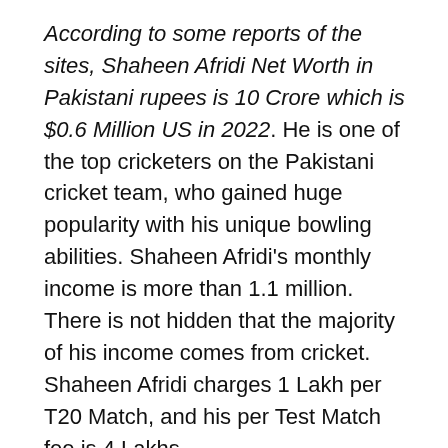According to some reports of the sites, Shaheen Afridi Net Worth in Pakistani rupees is 10 Crore which is $0.6 Million US in 2022. He is one of the top cricketers on the Pakistani cricket team, who gained huge popularity with his unique bowling abilities. Shaheen Afridi's monthly income is more than 1.1 million. There is not hidden that the majority of his income comes from cricket. Shaheen Afridi charges 1 Lakh per T20 Match, and his per Test Match fee is 4 Lakhs.
Over the last 3 years, his net worth has been increased 40 percent. His source of income also depends on the different brand organizations, sponsorships, and paid advertisements in which he takes around 1 Crore. Shaheen Afridi's per ODI